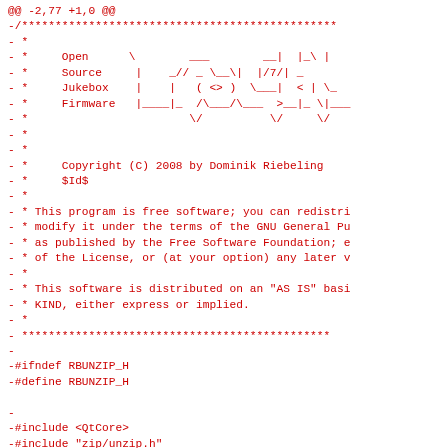Source code diff showing a C++ header file for Open Source Jukebox Firmware (RbUnZip), with copyright 2008 by Dominik Riebeling, GNU GPL license, preprocessor guards, includes for QtCore, zip/unzip.h, zip/zip.h, and class RbUnZip declaration.